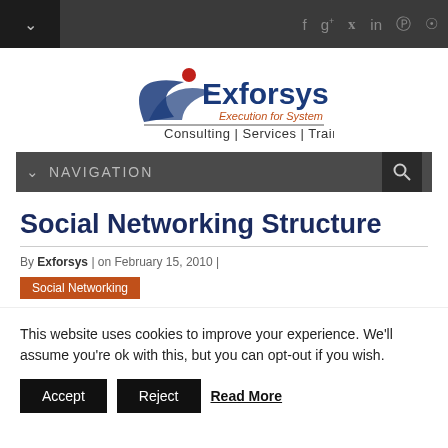Exforsys | Execution for System | Consulting | Services | Training
[Figure (logo): Exforsys logo with swoosh, tagline 'Execution for System', and subtitle 'Consulting | Services | Training']
NAVIGATION
Social Networking Structure
By Exforsys | on February 15, 2010 |
Social Networking
This website uses cookies to improve your experience. We'll assume you're ok with this, but you can opt-out if you wish.
Accept | Reject | Read More